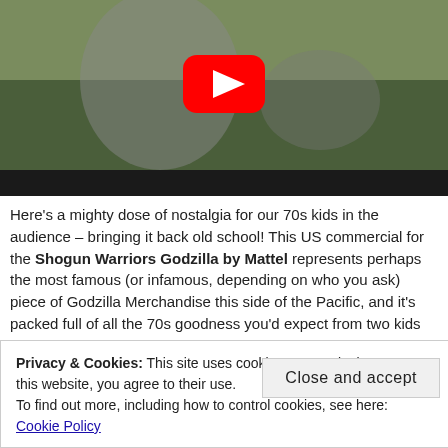[Figure (screenshot): YouTube video thumbnail showing a Godzilla monster figure with a red YouTube play button overlay, set against a greenish outdoor background]
Here's a mighty dose of nostalgia for our 70s kids in the audience – bringing it back old school! This US commercial for the Shogun Warriors Godzilla by Mattel represents perhaps the most famous (or infamous, depending on who you ask) piece of Godzilla Merchandise this side of the Pacific, and it's packed full of all the 70s goodness you'd expect from two kids knocking down a sandcastle with
Privacy & Cookies: This site uses cookies. By continuing to use this website, you agree to their use.
To find out more, including how to control cookies, see here: Cookie Policy
Close and accept
[Figure (screenshot): Video unavailable message in dark bar at bottom]